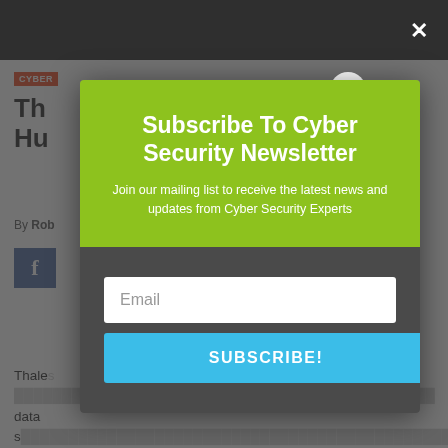CYBER
Th... Hu...
By Rob...
[Figure (screenshot): Facebook share button (blue with 'f')]
[Figure (infographic): Newsletter subscription modal overlay with green header, email input, and subscribe button]
Subscribe To Cyber Security Newsletter
Join our mailing list to receive the latest news and updates from Cyber Security Experts
Email
SUBSCRIBE!
Thale... data s... United Arab Emirates (UAE) which will help the public and private